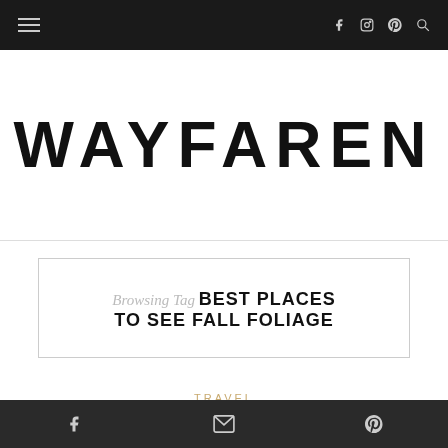Navigation bar with hamburger menu, Facebook, Instagram, Pinterest, and search icons
WAYFAREN
Browsing Tag BEST PLACES TO SEE FALL FOLIAGE
TRAVEL
Footer with Facebook, email, and Pinterest icons